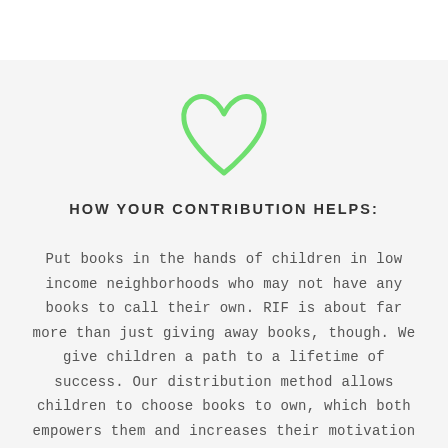[Figure (illustration): A hand-drawn style green heart outline icon centered on the page]
HOW YOUR CONTRIBUTION HELPS:
Put books in the hands of children in low income neighborhoods who may not have any books to call their own. RIF is about far more than just giving away books, though. We give children a path to a lifetime of success. Our distribution method allows children to choose books to own, which both empowers them and increases their motivation to read and learn. We provide a wide selection of high-